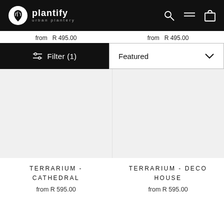plantify urban plantery
from R 495.00   from R 495.00
Filter (1)
Featured
TERRARIUM - CATHEDRAL
from R 595.00
TERRARIUM - DECO HOUSE
from R 595.00